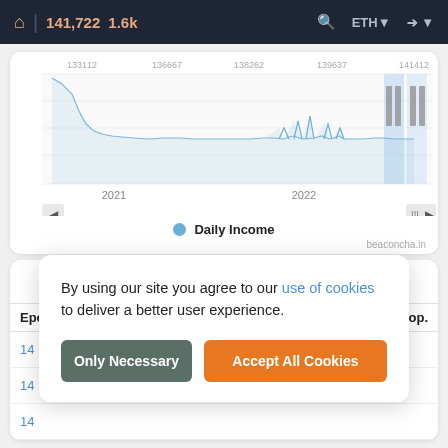🏠 | 141,722  1.6k   🔍  ETH ▼  ➔ ▼
[Figure (continuous-plot): Daily income line chart showing data from 2021 to 2022, with a steep decline from a high peak in early 2021, then a relatively flat low line, with some spikes near 2022 and highlighted bars at the right end.]
● Daily Income
beaconcha.in
Validator History
| Epoch | Balance Change | Att. & Prop. |
| --- | --- | --- |
| 14… |  |  |
| 14… |  |  |
| 14… |  |  |
By using our site you agree to our use of cookies to deliver a better user experience.
Only Necessary   Accept All Cookies